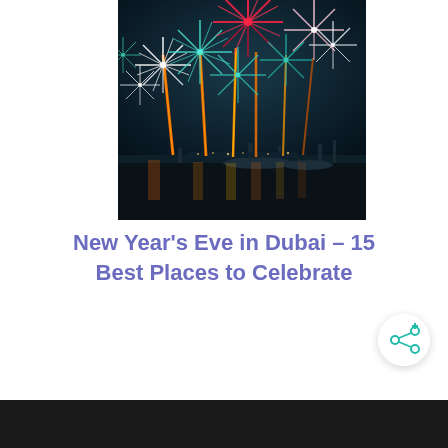[Figure (photo): Fireworks display over a marina at night, with colorful bursts of white, teal/green, red, and orange fireworks illuminating the dark sky, with glowing orange/red launch trails reflecting on water below. Boats and docks visible in background.]
New Year's Eve in Dubai – 15 Best Places to Celebrate
[Figure (other): Share icon button (circular white button with a share/network symbol in teal/blue-green color with a plus sign)]